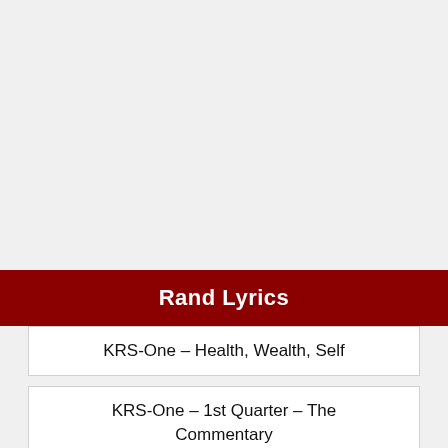Rand Lyrics
KRS-One – Health, Wealth, Self
KRS-One – 1st Quarter – The Commentary
KRS-One – 2nd Quarter – Free Throws